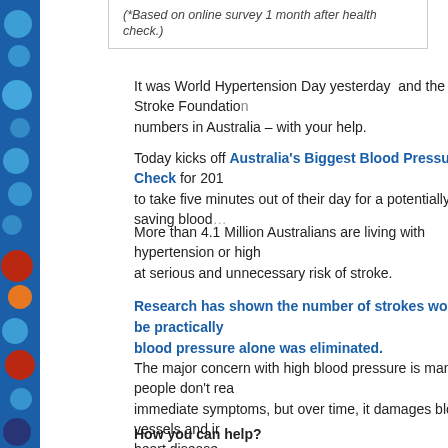(*Based on online survey 1 month after health check.)
It was World Hypertension Day yesterday  and the Stroke Foundation numbers in Australia – with your help.
Today kicks off Australia's Biggest Blood Pressure Check for 201 to take five minutes out of their day for a potentially life-saving blood
More than 4.1 Million Australians are living with hypertension or high at serious and unnecessary risk of stroke.
Research has shown the number of strokes would be practically blood pressure alone was eliminated.
The major concern with high blood pressure is many people don't rea immediate symptoms, but over time, it damages blood vessels and ir heart disease.
How you can help?
Have a free blood pressure check at your nearest location